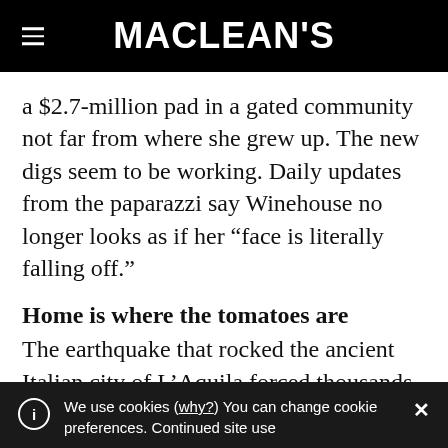MACLEAN'S
a $2.7-million pad in a gated community not far from where she grew up. The new digs seem to be working. Daily updates from the paparazzi say Winehouse no longer looks as if her “face is literally falling off.”
Home is where the tomatoes are
The earthquake that rocked the ancient Italian city of L’Aquila forced thousands of
We use cookies (why?) You can change cookie preferences. Continued site use